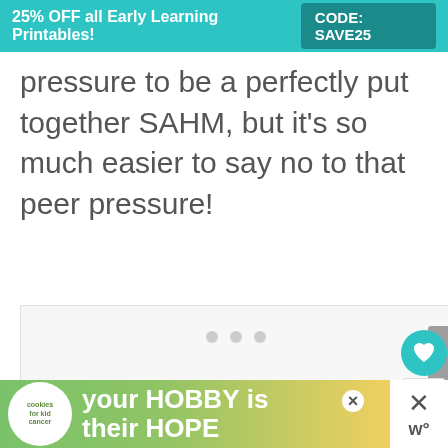25% OFF all Early Learning Printables! CODE: SAVE25
pressure to be a perfectly put together SAHM, but it’s so much easier to say no to that peer pressure!
[Figure (other): Ad placeholder box with three gray dots indicating loading content]
[Figure (other): Bottom advertisement banner: cookies for kid cancer - your HOBBY is their HOPE]